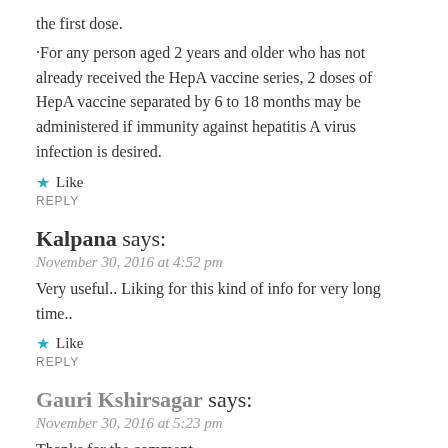the first dose.
·For any person aged 2 years and older who has not already received the HepA vaccine series, 2 doses of HepA vaccine separated by 6 to 18 months may be administered if immunity against hepatitis A virus infection is desired.
★ Like
REPLY
Kalpana says:
November 30, 2016 at 4:52 pm
Very useful.. Liking for this kind of info for very long time..
★ Like
REPLY
Gauri Kshirsagar says:
November 30, 2016 at 5:23 pm
Thanks for the comment.